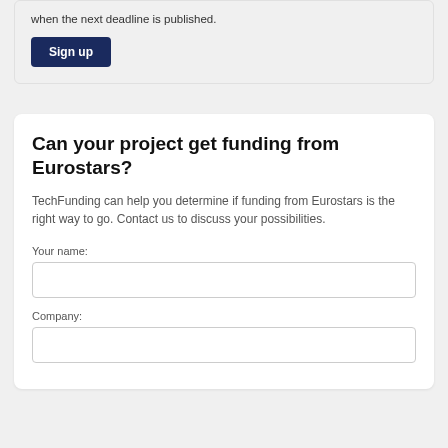when the next deadline is published.
Sign up
Can your project get funding from Eurostars?
TechFunding can help you determine if funding from Eurostars is the right way to go. Contact us to discuss your possibilities.
Your name:
Company: